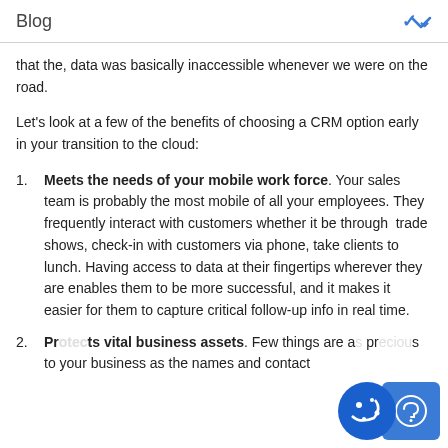Blog
that the, data was basically inaccessible whenever we were on the road.
Let's look at a few of the benefits of choosing a CRM option early in your transition to the cloud:
Meets the needs of your mobile work force. Your sales team is probably the most mobile of all your employees. They frequently interact with customers whether it be through trade shows, check-in with customers via phone, take clients to lunch. Having access to data at their fingertips wherever they are enables them to be more successful, and it makes it easier for them to capture critical follow-up info in real time.
Protects vital business assets. Few things are as precious to your business as the names and contact